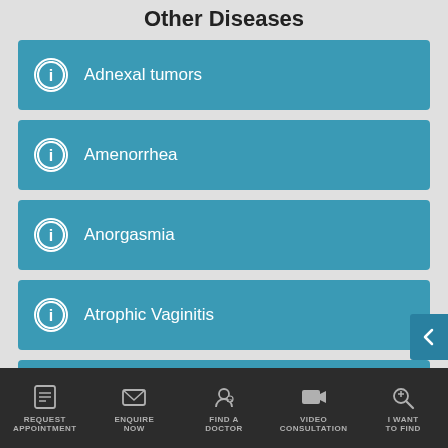Other Diseases
Adnexal tumors
Amenorrhea
Anorgasmia
Atrophic Vaginitis
Bacterial Vaginosis
Cervical cancer
REQUEST APPOINTMENT | ENQUIRE NOW | FIND A DOCTOR | VIDEO CONSULTATION | I WANT TO FIND